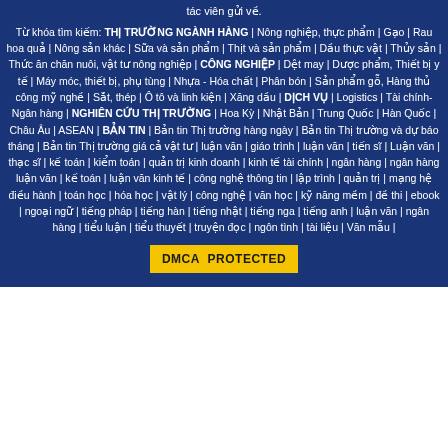tác viên gửi về.
Từ khóa tìm kiếm: THỊ TRƯỜNG NGÀNH HÀNG | Nông nghiệp, thực phẩm | Gạo | Rau hoa quả | Nông sản khác | Sữa và sản phẩm | Thịt và sản phẩm | Dầu thực vật | Thủy sản | Thức ăn chăn nuôi, vật tư nông nghiệp | CÔNG NGHIỆP | Dệt may | Dược phẩm, Thiết bị y tế | Máy móc, thiết bị, phụ tùng | Nhựa - Hóa chất | Phân bón | Sản phẩm gỗ, Hàng thủ công mỹ nghề | Sắt, thép | Ô tô và linh kiện | Xăng dầu | DỊCH VỤ | Logistics | Tài chính-Ngân hàng | NGHIÊN CỨU THỊ TRƯỜNG | Hoa Kỳ | Nhật Bản | Trung Quốc | Hàn Quốc | Châu Âu | ASEAN | BẢN TIN | Bản tin Thị trường hàng ngày | Bản tin Thị trường và dự báo tháng | Bản tin Thị trường giá cả vật tư | luận văn | giáo trình | luận văn | tiến sĩ | Luận văn | thạc sĩ | kế toán | kiểm toán | quản trị kinh doanh | kinh tế tài chính | ngân hàng | ngân hàng luận văn | kế toán | luận văn kinh tế | công nghệ thông tin | lập trình | quản trị | mạng hệ điều hành | toán học | hóa học | vật lý | công nghệ | văn học | kỹ năng mềm | đề thi | ebook | ngoại ngữ | tiếng pháp | tiếng hàn | tiếng nhật | tiếng nga | tiếng anh | luận văn | ngân hàng | tiểu luận | tiểu thuyết | truyện đọc | ngôn tình | tài liệu | Văn mẫu |
[Figure (other): DMCA PROTECTED badge in gold/yellow color]